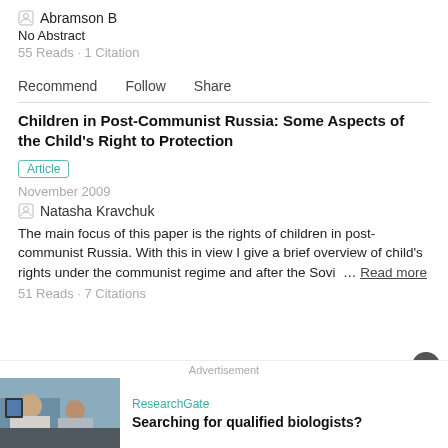Abramson B
No Abstract
55 Reads · 1 Citation
Recommend   Follow   Share
Children in Post-Communist Russia: Some Aspects of the Child's Right to Protection
Article
November 2009
Natasha Kravchuk
The main focus of this paper is the rights of children in post-communist Russia. With this in view I give a brief overview of child's rights under the communist regime and after the Sovi  … Read more
51 Reads · 7 Citations
Advertisement
ResearchGate
Searching for qualified biologists?